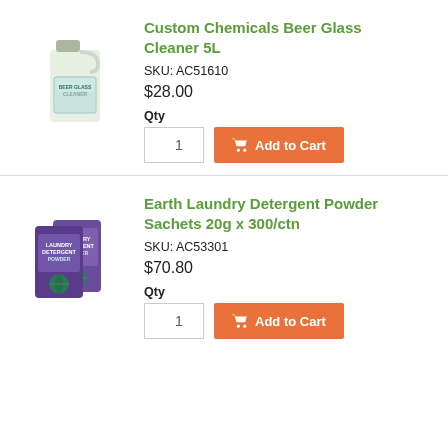[Figure (photo): Product image of Custom Chemicals Beer Glass Cleaner 5L bottle]
Custom Chemicals Beer Glass Cleaner 5L
SKU: AC51610
$28.00
Qty
[Figure (photo): Product image of Earth Laundry Detergent Powder Sachets 20g x 300/ctn]
Earth Laundry Detergent Powder Sachets 20g x 300/ctn
SKU: AC53301
$70.80
Qty